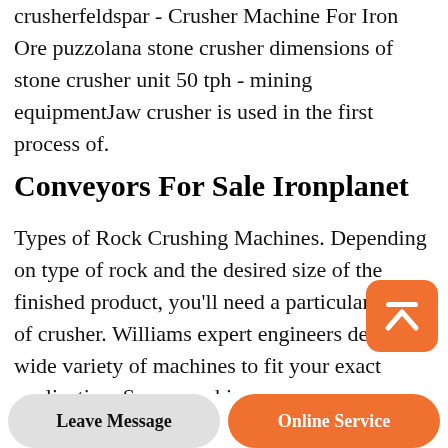crusherfeldspar - Crusher Machine For Iron Ore puzzolana stone crusher dimensions of stone crusher unit 50 tph - mining equipmentJaw crusher is used in the first process of.
Conveyors For Sale Ironplanet
Types of Rock Crushing Machines. Depending on type of rock and the desired size of the finished product, you'll need a particular type of crusher. Williams expert engineers design a wide variety of machines to fit your exact application. Some machines can serve as your primary, secondary, and tertiary crusher all in one.Concrete block making machine for sale in USA is hot sale machine. Adopting the waste...
[Figure (other): Orange rounded square button with white upward-pointing chevron/arrow icon, used as a scroll-to-top UI element]
Leave Message | Online Service